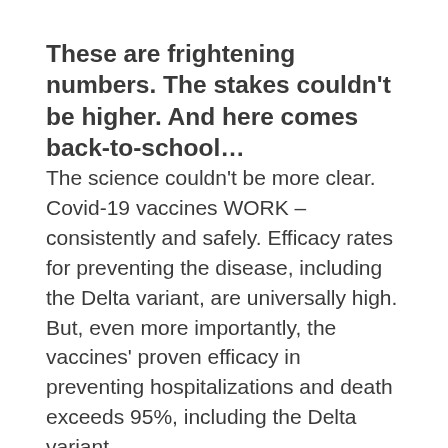These are frightening numbers. The stakes couldn't be higher. And here comes back-to-school…
The science couldn't be more clear. Covid-19 vaccines WORK – consistently and safely. Efficacy rates for preventing the disease, including the Delta variant, are universally high. But, even more importantly, the vaccines' proven efficacy in preventing hospitalizations and death exceeds 95%, including the Delta variant.
The unprecedented level of